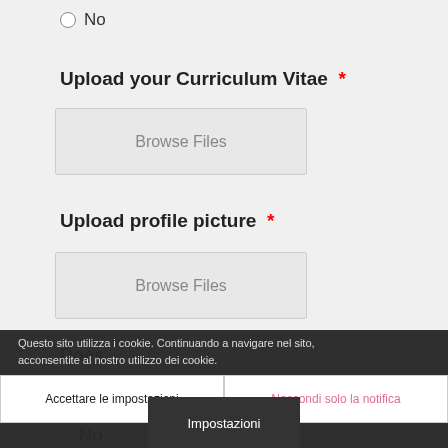No
Upload your Curriculum Vitae *
[Figure (screenshot): Browse Files button for CV upload]
Upload profile picture *
[Figure (screenshot): Browse Files button for profile picture upload]
Questo sito utilizza i cookie. Continuando a navigare nel sito, acconsentite al nostro utilizzo dei cookie.
Does
Yes
No